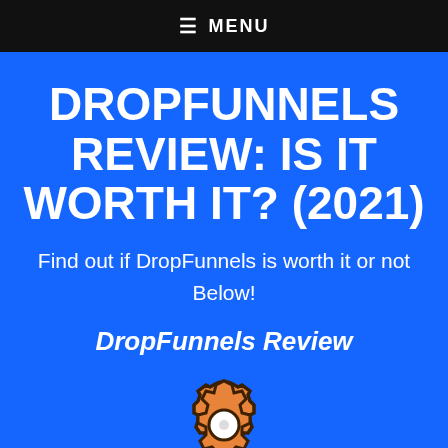≡  MENU
DROPFUNNELS REVIEW: IS IT WORTH IT? (2021)
Find out if DropFunnels is worth it or not Below!
[Figure (logo): DropFunnels Review logo with orange gear/cog icon containing a white circle in the center, with bold italic white text 'DropFunnels Review' above it]